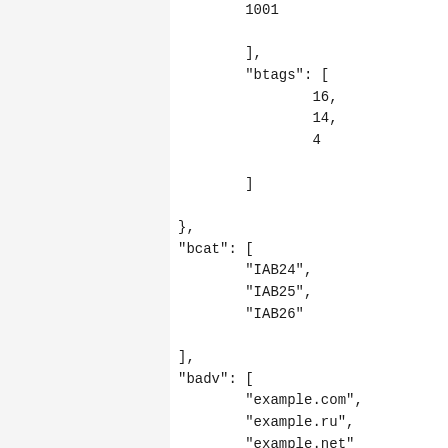1001
        ],
        "btags": [
                16,
                14,
                4

        ]

},
"bcat": [
        "IAB24",
        "IAB25",
        "IAB26"

],
"badv": [
        "example.com",
        "example.ru",
        "example.net"

]